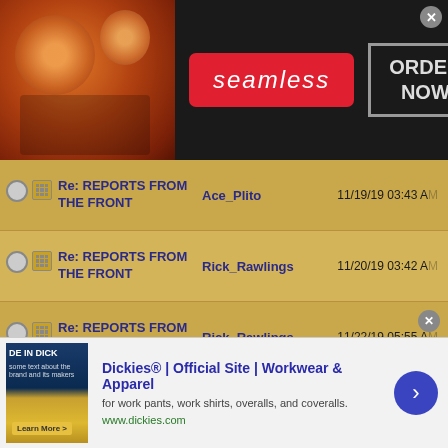[Figure (screenshot): Seamless food delivery ad banner with pizza image, Seamless logo in red, ORDER NOW button]
Re: REPORTS FROM THE FRONT | Ace_Plito | 11/19/19 03:43 AM
Re: REPORTS FROM THE FRONT | Rick_Rawlings | 11/20/19 03:42 AM
Re: REPORTS FROM THE FRONT | Rick_Rawlings | 11/22/19 05:55 AM
Re: REPORTS FROM THE FRONT | Fullofit | 11/23/19 01:13 AM
Re: REPORTS FROM THE FRONT | Rick_Rawlings | 11/23/19 03:10 AM
Re: REPORTS FROM THE FRONT | Rick_Rawlings | 11/23/19 02:51 PM
Re: REPORTS FROM THE FRONT | Trooper117 | 11/23/19 ...
[Figure (screenshot): Dickies workwear advertisement banner at bottom of page]